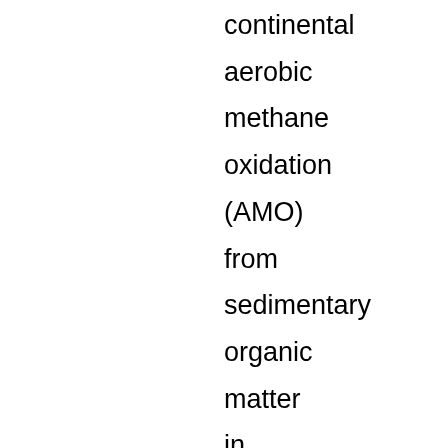continental aerobic methane oxidation (AMO) from sedimentary organic matter in deep-sea fan sediments off the Congo River to reconstruct the link